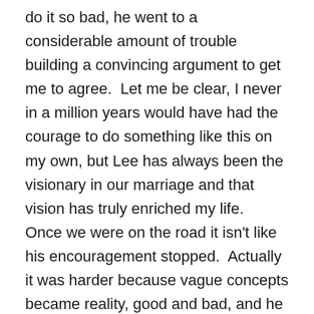do it so bad, he went to a considerable amount of trouble building a convincing argument to get me to agree.  Let me be clear, I never in a million years would have had the courage to do something like this on my own, but Lee has always been the visionary in our marriage and that vision has truly enriched my life.  Once we were on the road it isn't like his encouragement stopped.  Actually it was harder because vague concepts became reality, good and bad, and he sort of babied me along for the first 6 months.  I fully admit I needed that.  I have never been this far our of my comfort zone for such an extended period of time in my life.  So all of that was fine and was working for us as a couple, but eventually it became not fine.  It wasn't his choice, it was our choice, and I needed to start owning my part in that.  Plus I am sure he was getting tired of being extra careful with me all the time because I might